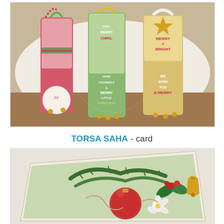[Figure (photo): Christmas craft gift tags with ribbons, bells, and holiday sentiments including 'Merry & Bright', 'Have Yourself A Merry Little Christmas', 'We Wish You A Merry Christmas', displayed on a white doily tablecloth.]
TORSA SAHA - card
[Figure (photo): A decorative Christmas card with holly, red ornament ball, poinsettia flowers, and greenery arranged on a light wooden-look card base.]